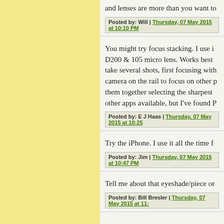and lenses are more than you want to
Posted by: Will | Thursday, 07 May 2015 at 10:10 PM
You might try focus stacking. I use it with my D200 & 105 micro lens. Works best take several shots, first focusing with camera on the rail to focus on other p them together selecting the sharpest other apps available, but I've found P
Posted by: E J Haas | Thursday, 07 May 2015 at 10:25
Try the iPhone. I use it all the time f
Posted by: Jim | Thursday, 07 May 2015 at 10:47 PM
Tell me about that eyeshade/piece or
Posted by: Bill Bresler | Thursday, 07 May 2015 at 11: